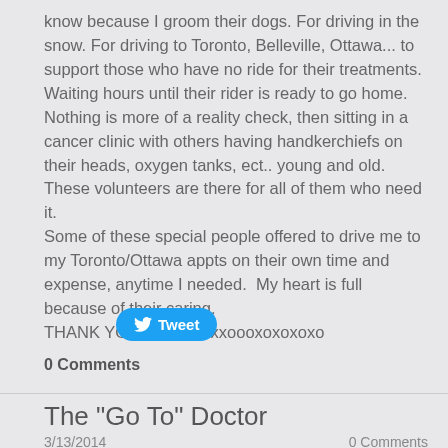know because I groom their dogs. For driving in the snow. For driving to Toronto, Belleville, Ottawa... to support those who have no ride for their treatments. Waiting hours until their rider is ready to go home.
Nothing is more of a reality check, then sitting in a cancer clinic with others having handkerchiefs on their heads, oxygen tanks, ect.. young and old.
These volunteers are there for all of them who need it.
Some of these special people offered to drive me to my Toronto/Ottawa appts on their own time and expense, anytime I needed.  My heart is full because of their caring.
THANK YOU!!! xoxoxoxxoooxoxoxoxo
[Figure (other): Twitter Tweet button with bird logo]
0 Comments
The "Go To" Doctor
3/13/2014
0 Comments